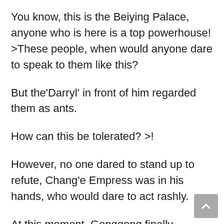You know, this is the Beiying Palace, anyone who is here is a top powerhouse! >These people, when would anyone dare to speak to them like this?
But the‘Darryl’ in front of him regarded them as ants.
How can this be tolerated? >!
However, no one dared to stand up to refute, Chang’e Empress was in his hands, who would dare to act rashly.
At this moment, Gonggong finally reacted, his beautiful face was livid, and he pointed at Liang Hao from a distance: “Darryl, let go of Niang Niang, leave here, we can ignore your